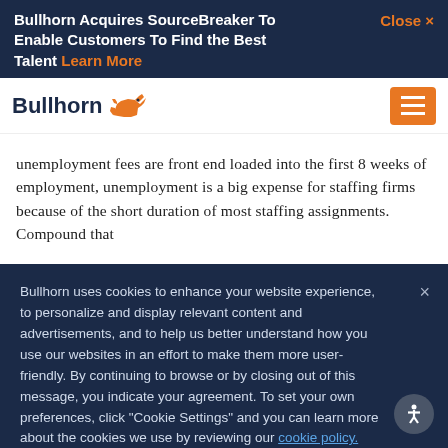Bullhorn Acquires SourceBreaker To Enable Customers To Find the Best Talent Learn More   Close ×
[Figure (logo): Bullhorn logo with bull icon and orange hamburger menu button]
unemployment fees are front end loaded into the first 8 weeks of employment, unemployment is a big expense for staffing firms because of the short duration of most staffing assignments. Compound that
Bullhorn uses cookies to enhance your website experience, to personalize and display relevant content and advertisements, and to help us better understand how you use our websites in an effort to make them more user-friendly. By continuing to browse or by closing out of this message, you indicate your agreement. To set your own preferences, click "Cookie Settings" and you can learn more about the cookies we use by reviewing our cookie policy.